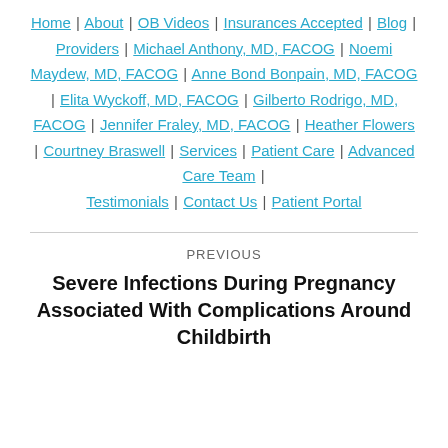Home | About | OB Videos | Insurances Accepted | Blog | Providers | Michael Anthony, MD, FACOG | Noemi Maydew, MD, FACOG | Anne Bond Bonpain, MD, FACOG | Elita Wyckoff, MD, FACOG | Gilberto Rodrigo, MD, FACOG | Jennifer Fraley, MD, FACOG | Heather Flowers | Courtney Braswell | Services | Patient Care | Advanced Care Team | Testimonials | Contact Us | Patient Portal
PREVIOUS
Severe Infections During Pregnancy Associated With Complications Around Childbirth